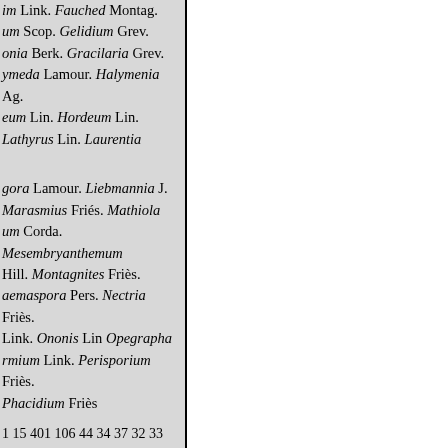im Link. Fauched Montag. um Scop. Gelidium Grev. onia Berk. Gracilaria Grev. ymeda Lamour. Halymenia Ag. eum Lin. Hordeum Lin. Lathyrus Lin. Laurentia
gora Lamour. Liebmannia J. Marasmius Friés. Mathiola um Corda. Mesembryanthemum Hill. Montagnites Friès. aemaspora Pers. Nectria Friès. Link. Ononis Lin Opegrapha rmium Link. Perisporium Friès. Phacidium Friès
1 15 401 106 44 34 37 32 33